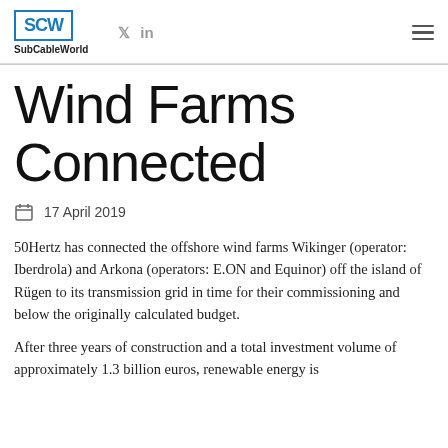SubCableWorld
Wind Farms Connected
17 April 2019
50Hertz has connected the offshore wind farms Wikinger (operator: Iberdrola) and Arkona (operators: E.ON and Equinor) off the island of Rügen to its transmission grid in time for their commissioning and below the originally calculated budget.
After three years of construction and a total investment volume of approximately 1.3 billion euros, renewable energy is